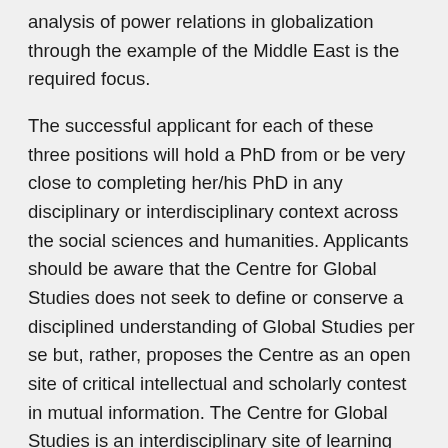analysis of power relations in globalization through the example of the Middle East is the required focus.
The successful applicant for each of these three positions will hold a PhD from or be very close to completing her/his PhD in any disciplinary or interdisciplinary context across the social sciences and humanities. Applicants should be aware that the Centre for Global Studies does not seek to define or conserve a disciplined understanding of Global Studies per se but, rather, proposes the Centre as an open site of critical intellectual and scholarly contest in mutual information. The Centre for Global Studies is an interdisciplinary site of learning and research, promoting critical inquiry into how we may effectively and responsibly engage the world. The Centre offers degree modules in three streams of interrelated learning: Globalization Studies, Global Culture Studies, and Global Development Studies, each promoting and embracing the interplay of inquiries generated across the humanities and